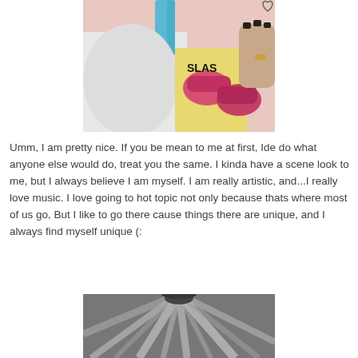[Figure (photo): Photo of a person with blue hair streaks wearing a white hoodie, holding what appears to be a colorful item with pink shoe graphics. Dark painted fingernails visible.]
Umm, I am pretty nice. If you be mean to me at first, Ide do what anyone else would do, treat you the same. I kinda have a scene look to me, but I always believe I am myself. I am really artistic, and...I really love music. I love going to hot topic not only because thats where most of us go, But I like to go there cause things there are unique, and I always find myself unique (:
[Figure (photo): Black and white photo showing the top of a person's head with streaked hair, viewed from above.]